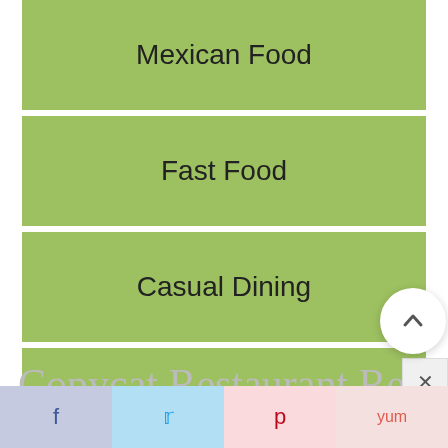Mexican Food
Fast Food
Casual Dining
Fine Dining
Browse All Recipes
739
Copycat Restaurant Recipes